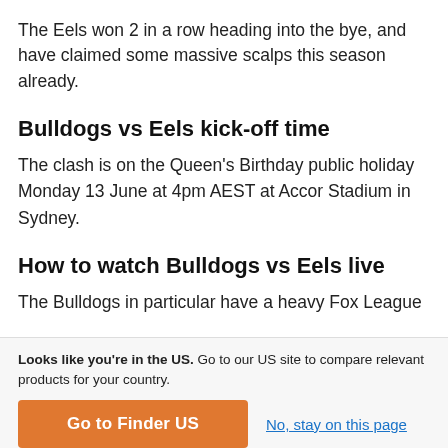The Eels won 2 in a row heading into the bye, and have claimed some massive scalps this season already.
Bulldogs vs Eels kick-off time
The clash is on the Queen's Birthday public holiday Monday 13 June at 4pm AEST at Accor Stadium in Sydney.
How to watch Bulldogs vs Eels live
The Bulldogs in particular have a heavy Fox League
Looks like you're in the US. Go to our US site to compare relevant products for your country.
Go to Finder US
No, stay on this page